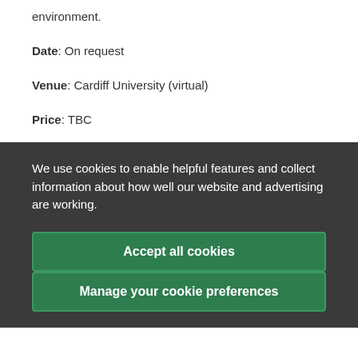environment.
Date: On request
Venue: Cardiff University (virtual)
Price: TBC
We use cookies to enable helpful features and collect information about how well our website and advertising are working.
Accept all cookies
Manage your cookie preferences